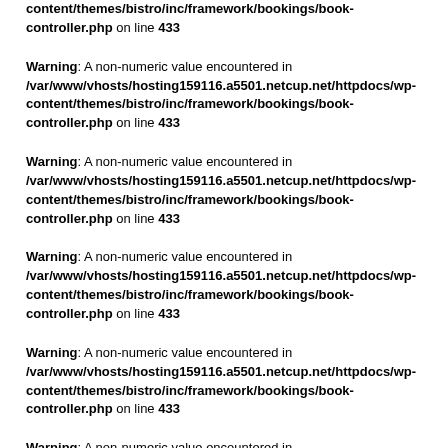Warning: A non-numeric value encountered in /var/www/vhosts/hosting159116.a5501.netcup.net/httpdocs/wp-content/themes/bistro/inc/framework/bookings/book-controller.php on line 433
Warning: A non-numeric value encountered in /var/www/vhosts/hosting159116.a5501.netcup.net/httpdocs/wp-content/themes/bistro/inc/framework/bookings/book-controller.php on line 433
Warning: A non-numeric value encountered in /var/www/vhosts/hosting159116.a5501.netcup.net/httpdocs/wp-content/themes/bistro/inc/framework/bookings/book-controller.php on line 433
Warning: A non-numeric value encountered in /var/www/vhosts/hosting159116.a5501.netcup.net/httpdocs/wp-content/themes/bistro/inc/framework/bookings/book-controller.php on line 433
Warning: A non-numeric value encountered in /var/www/vhosts/hosting159116.a5501.netcup.net/httpdocs/wp-content/themes/bistro/inc/framework/bookings/book-controller.php on line 433
Warning: A non-numeric value encountered in /var/www/vhosts/hosting159116.a5501.netcup.net/httpdocs/wp-content/themes/bistro/inc/framework/bookings/book-controller.php on line 433
Warning: A non-numeric value encountered in /var/www/vhosts/hosting159116.a5501.netcup.net/httpdocs/wp-content/themes/bistro/inc/framework/bookings/book-controller.php on line 433
Warning: A non-numeric value encountered in /var/www/vhosts/hosting159116.a5501.netcup.net/httpdocs/wp-content/themes/bistro/inc/framework/bookings/book-controller.php on line 433